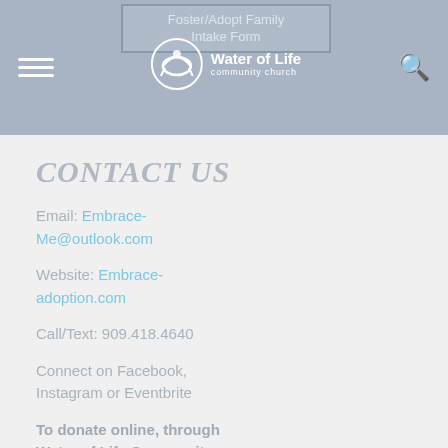Foster/Adopt Family Intake Form | Water of Life community church
CONTACT US
Email: Embrace-Me@outlook.com
Website: Embrace-adoption.com
Call/Text: 909.418.4640
Connect on Facebook, Instagram or Eventbrite
To donate online, through Water of Life Community Church, please follow this link